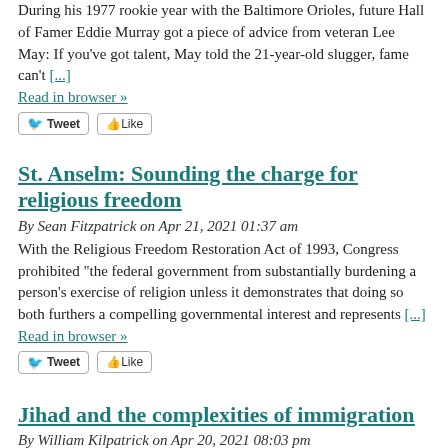During his 1977 rookie year with the Baltimore Orioles, future Hall of Famer Eddie Murray got a piece of advice from veteran Lee May: If you've got talent, May told the 21-year-old slugger, fame can't [...]
Read in browser »
St. Anselm: Sounding the charge for religious freedom
By Sean Fitzpatrick on Apr 21, 2021 01:37 am
With the Religious Freedom Restoration Act of 1993, Congress prohibited "the federal government from substantially burdening a person's exercise of religion unless it demonstrates that doing so both furthers a compelling governmental interest and represents [...]
Read in browser »
Jihad and the complexities of immigration
By William Kilpatrick on Apr 20, 2021 08:03 pm